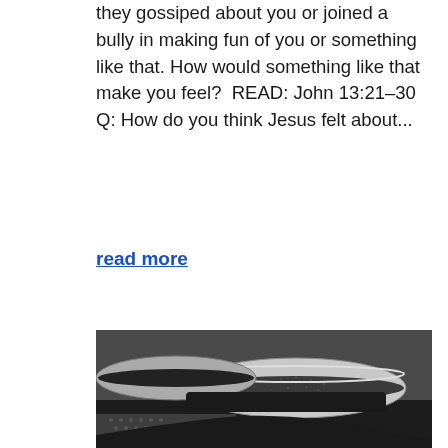they gossiped about you or joined a bully in making fun of you or something like that. How would something like that make you feel?  READ: John 13:21–30  Q: How do you think Jesus felt about...
read more
[Figure (photo): Black and white close-up photograph of ceramic bowls or pottery pieces with speckled texture, arranged on a textured fabric surface.]